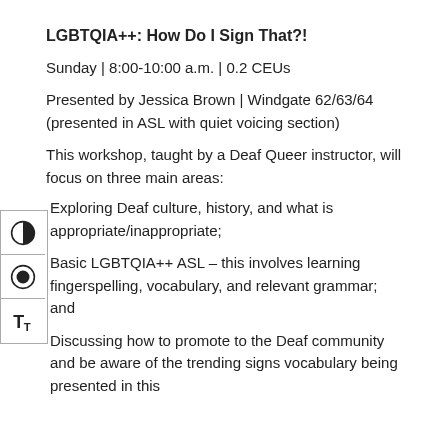LGBTQIA++: How Do I Sign That?!
Sunday | 8:00-10:00 a.m. | 0.2 CEUs
Presented by Jessica Brown | Windgate 62/63/64 (presented in ASL with quiet voicing section)
This workshop, taught by a Deaf Queer instructor, will focus on three main areas:
Exploring Deaf culture, history, and what is appropriate/inappropriate;
Basic LGBTQIA++ ASL – this involves learning fingerspelling, vocabulary, and relevant grammar; and
Discussing how to promote to the Deaf community and be aware of the trending signs vocabulary being presented in this